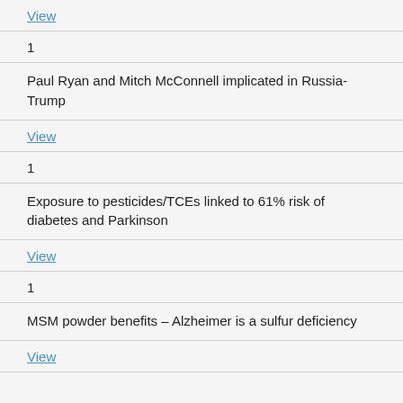View
1
Paul Ryan and Mitch McConnell implicated in Russia-Trump
View
1
Exposure to pesticides/TCEs linked to 61% risk of diabetes and Parkinson
View
1
MSM powder benefits – Alzheimer is a sulfur deficiency
View